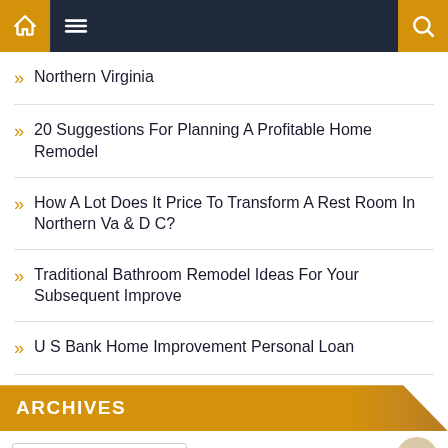Navigation bar with home, menu, and search icons
Northern Virginia
20 Suggestions For Planning A Profitable Home Remodel
How A Lot Does It Price To Transform A Rest Room In Northern Va & D C?
Traditional Bathroom Remodel Ideas For Your Subsequent Improve
U S Bank Home Improvement Personal Loan
ARCHIVES
Select Month